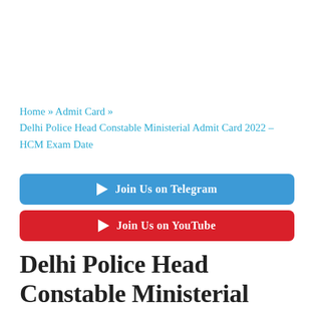Home » Admit Card » Delhi Police Head Constable Ministerial Admit Card 2022 – HCM Exam Date
Join Us on Telegram
Join Us on YouTube
Delhi Police Head Constable Ministerial Admit Card 2022 – HCM Exam Date